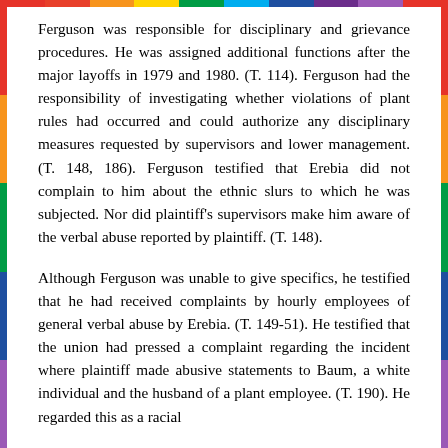Ferguson was responsible for disciplinary and grievance procedures. He was assigned additional functions after the major layoffs in 1979 and 1980. (T. 114). Ferguson had the responsibility of investigating whether violations of plant rules had occurred and could authorize any disciplinary measures requested by supervisors and lower management. (T. 148, 186). Ferguson testified that Erebia did not complain to him about the ethnic slurs to which he was subjected. Nor did plaintiff's supervisors make him aware of the verbal abuse reported by plaintiff. (T. 148).
Although Ferguson was unable to give specifics, he testified that he had received complaints by hourly employees of general verbal abuse by Erebia. (T. 149-51). He testified that the union had pressed a complaint regarding the incident where plaintiff made abusive statements to Baum, a white individual and the husband of a plant employee. (T. 190). He regarded this as a racial